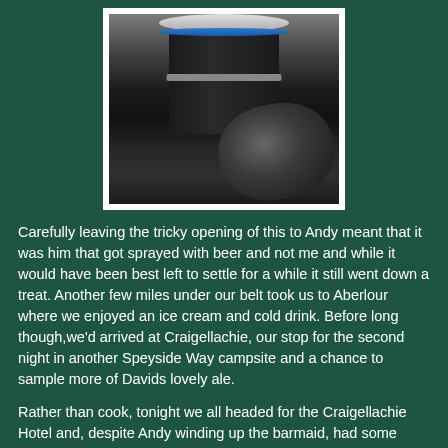[Figure (photo): Close-up photograph of what appears to be metal beer kegs or barrels, dark cylindrical containers with a metallic lid visible in the foreground, against a dark background.]
Carefully leaving the tricky opening of this to Andy meant that it was him that got sprayed with beer and not me and while it would have been best left to settle for a while it still went down a treat. Another few miles under our belt took us to Aberlour where we enjoyed an ice cream and cold drink. Before long though,we'd arrived at Craigellachie, our stop for the second night in another Speyside Way campsite and a chance to sample more of Davids lovely ale.
Rather than cook, tonight we all headed for the Craigellachie Hotel and, despite Andy winding up the barmaid, had some